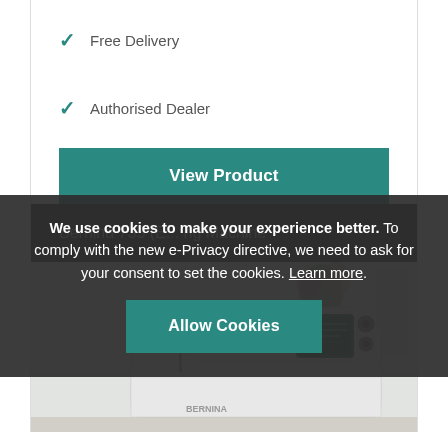✓ Free Delivery
✓ Authorised Dealer
View Product
Bernina 735 (E... ng Machine
[Figure (photo): Photo of a Bernina 735 sewing/embroidery machine in a bright room with flowers in background]
We use cookies to make your experience better. To comply with the new e-Privacy directive, we need to ask for your consent to set the cookies. Learn more.
Allow Cookies